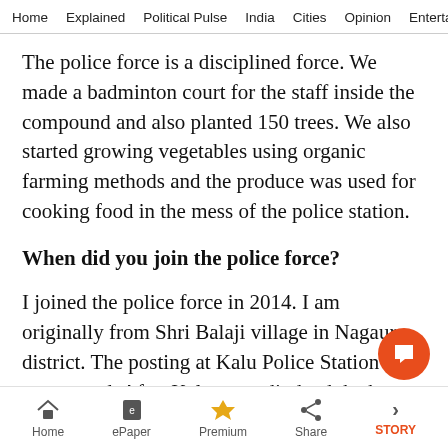Home  Explained  Political Pulse  India  Cities  Opinion  Entertainment
The police force is a disciplined force. We made a badminton court for the staff inside the compound and also planted 150 trees. We also started growing vegetables using organic farming methods and the produce was used for cooking food in the mess of the police station.
When did you join the police force?
I joined the police force in 2014. I am originally from Shri Balaji village in Nagaur district. The posting at Kalu Police Station was my second. After Kalu was adjudged the best police sta
Home  ePaper  Premium  Share  STORY